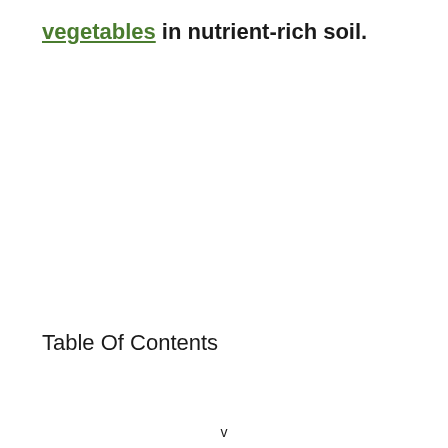vegetables in nutrient-rich soil.
Table Of Contents
v